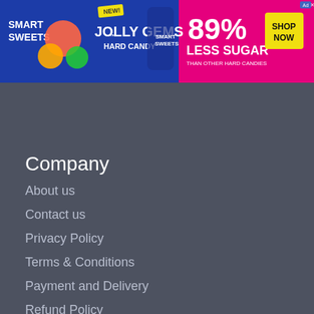[Figure (other): SmartSweets Jolly Gems Hard Candy advertisement banner. '89% Less Sugar than other hard candies' with SHOP NOW button.]
Company
About us
Contact us
Privacy Policy
Terms & Conditions
Payment and Delivery
Refund Policy
DCMA Policy
Plans & Pricing
Coupon code
Sitemap
We use cookies to make sure you can have the experience on our website. If you continue to use this site we assume that you will be happy with it. More information >
OK